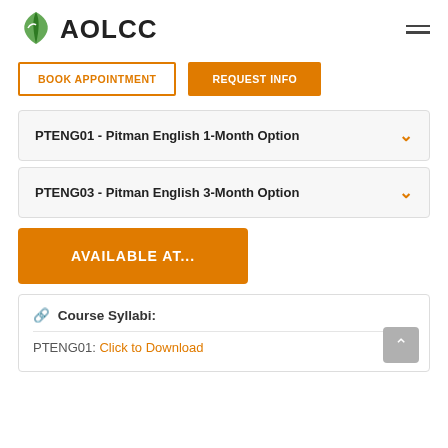[Figure (logo): AOLCC logo with green leaf and bold text]
BOOK APPOINTMENT
REQUEST INFO
PTENG01 - Pitman English 1-Month Option
PTENG03 - Pitman English 3-Month Option
AVAILABLE AT...
Course Syllabi:
PTENG01: Click to Download